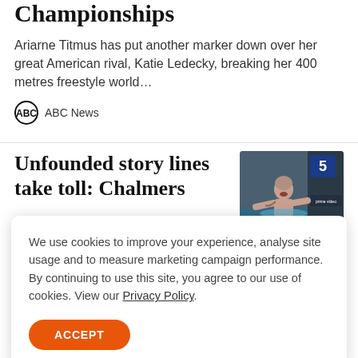Championships
Ariarne Titmus has put another marker down over her great American rival, Katie Ledecky, breaking her 400 metres freestyle world…
ABC News
Unfounded story lines take toll: Chalmers
[Figure (photo): A shirtless male swimmer (Kyle Chalmers) in a pool, with a lane number 5 sign and Prime Video branding visible in the background.]
We use cookies to improve your experience, analyse site usage and to measure marketing campaign performance. By continuing to use this site, you agree to our use of cookies. View our Privacy Policy.
ACCEPT